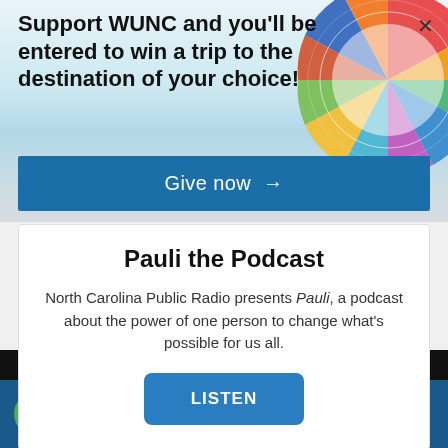[Figure (screenshot): Colorful globe/circle graphic in the upper right background of the banner]
Support WUNC and you'll be entered to win a trip to the destination of your choice!
Give now →
Pauli the Podcast
North Carolina Public Radio presents Pauli, a podcast about the power of one person to change what's possible for us all.
LISTEN
WUNC
BBC World News